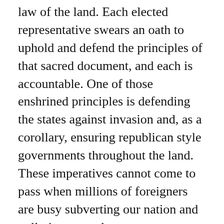Constitution. The Constitution is the supreme law of the land. Each elected representative swears an oath to uphold and defend the principles of that sacred document, and each is accountable. One of those enshrined principles is defending the states against invasion and, as a corollary, ensuring republican style governments throughout the land. These imperatives cannot come to pass when millions of foreigners are busy subverting our nation and polluting our culture.
President Trump faces a colossal dilemma: Will he continue to play politics and try to make a “deal” regarding illegal immigration, or will he do what he was elected to do, what the American People want, what his oath of office to the Constitution requires, and what the